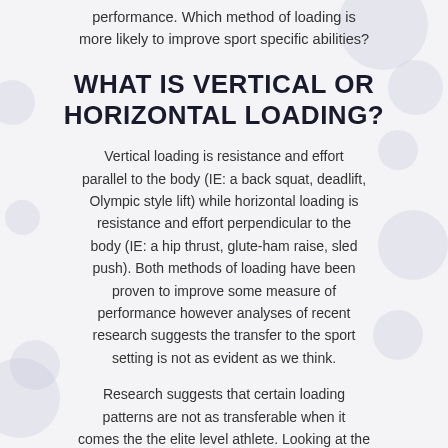performance. Which method of loading is more likely to improve sport specific abilities?
WHAT IS VERTICAL OR HORIZONTAL LOADING?
Vertical loading is resistance and effort parallel to the body (IE: a back squat, deadlift, Olympic style lift) while horizontal loading is resistance and effort perpendicular to the body (IE: a hip thrust, glute-ham raise, sled push). Both methods of loading have been proven to improve some measure of performance however analyses of recent research suggests the transfer to the sport setting is not as evident as we think.
Research suggests that certain loading patterns are not as transferable when it comes the the elite level athlete. Looking at the preceding statement, its seems pretty